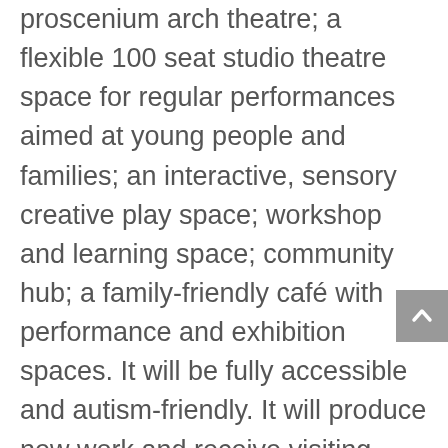proscenium arch theatre; a flexible 100 seat studio theatre space for regular performances aimed at young people and families; an interactive, sensory creative play space; workshop and learning space; community hub; a family-friendly café with performance and exhibition spaces. It will be fully accessible and autism-friendly. It will produce new work and receive visiting productions for children, young people and families. It will host a vibrant programme of creative learning. It will support local arts organisations and